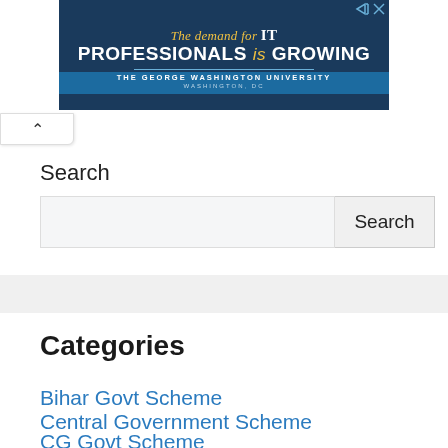[Figure (screenshot): Advertisement banner for The George Washington University IT Professionals program with dark blue background and gold/white text reading 'The demand for IT PROFESSIONALS is GROWING']
Search
Search
Categories
Bihar Govt Scheme
Central Government Scheme
CG Govt Scheme